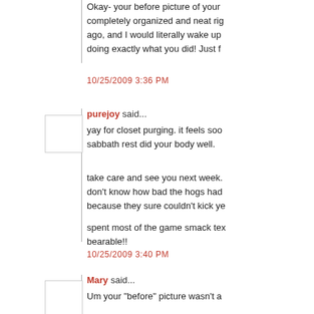Okay- your before picture of your completely organized and neat rig ago, and I would literally wake up doing exactly what you did! Just f
10/25/2009 3:36 PM
purejoy said...
yay for closet purging. it feels soo sabbath rest did your body well.
take care and see you next week. don't know how bad the hogs had because they sure couldn't kick ye
spent most of the game smack tex bearable!!
10/25/2009 3:40 PM
Mary said...
Um your "before" picture wasn't a